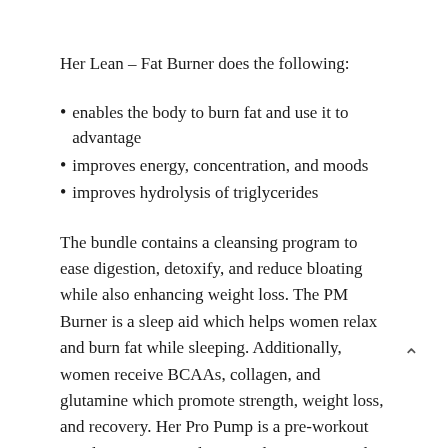Her Lean – Fat Burner does the following:
enables the body to burn fat and use it to advantage
improves energy, concentration, and moods
improves hydrolysis of triglycerides
The bundle contains a cleansing program to ease digestion, detoxify, and reduce bloating while also enhancing weight loss. The PM Burner is a sleep aid which helps women relax and burn fat while sleeping. Additionally, women receive BCAAs, collagen, and glutamine which promote strength, weight loss, and recovery. Her Pro Pump is a pre-workout supplement to stimulate muscles, energy, and focus.